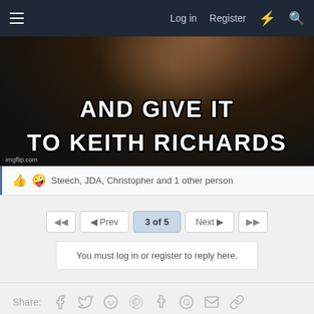Log in  Register
[Figure (photo): Meme image with dark background showing a hand with rings. Text reads 'AND GIVE IT TO KEITH RICHARDS'. Watermark: imgflip.com]
Steech, JDA, Christopher and 1 other person
3 of 5
You must log in or register to reply here.
Share: